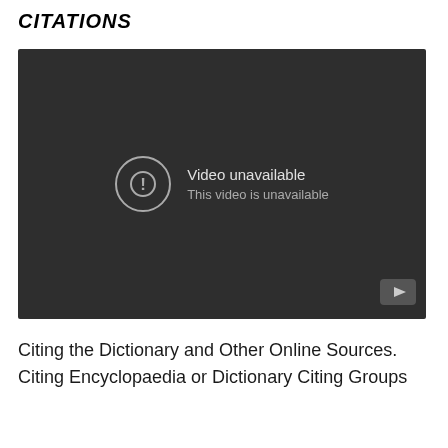CITATIONS
[Figure (screenshot): Embedded video player showing a dark background with 'Video unavailable' message. A circle with exclamation mark icon on the left, text 'Video unavailable' and 'This video is unavailable' on the right. YouTube logo in bottom-right corner.]
Citing the Dictionary and Other Online Sources.
Citing Encyclopaedia or Dictionary Citing Groups